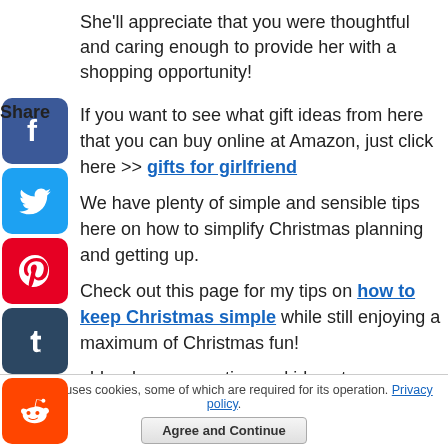She'll appreciate that you were thoughtful and caring enough to provide her with a shopping opportunity!
If you want to see what gift ideas from here that you can buy online at Amazon, just click here >> gifts for girlfriend
We have plenty of simple and sensible tips here on how to simplify Christmas planning and getting up.
Check out this page for my tips on how to keep Christmas simple while still enjoying a maximum of Christmas fun!
And I would welcome your tips and ideas too -
[Figure (infographic): Social media share icons: Facebook (blue), Twitter (blue), Pinterest (red), Tumblr (dark navy), Reddit (orange), WhatsApp (green)]
This site uses cookies, some of which are required for its operation. Privacy policy. Agree and Continue